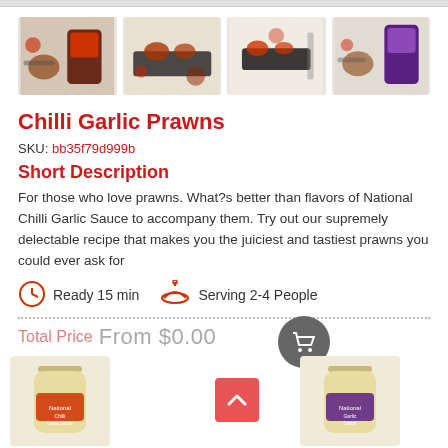[Figure (photo): Four thumbnail images of Chilli Garlic Prawns dish and product packaging arranged in a horizontal strip]
Chilli Garlic Prawns
SKU: bb35f79d999b
Short Description
For those who love prawns. What?s better than flavors of National Chilli Garlic Sauce to accompany them. Try out our supremely delectable recipe that makes you the juiciest and tastiest prawns you could ever ask for
Ready 15 min   Serving 2-4 People
Total Price From $0.00
[Figure (photo): Two product jar images of National brand sauces at the bottom, with a red scroll-up button in the center]